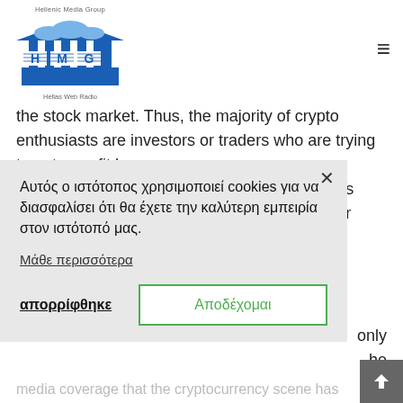[Figure (logo): Hellenic Media Group logo with HMG letters styled in Greek flag blue and white stripes, temple/building graphic above, text 'Hellenic Media Group' at top and 'Hellas Web Radio' at bottom]
the stock market. Thus, the majority of crypto enthusiasts are investors or traders who are trying to get a profit by [partially obscured text] s r
Αυτός ο ιστότοπος χρησιμοποιεί cookies για να διασφαλίσει ότι θα έχετε την καλύτερη εμπειρία στον ιστότοπό μας.
Μάθε περισσότερα
απορρίφθηκε
Αποδέχομαι
only he ve media coverage that the cryptocurrency scene has